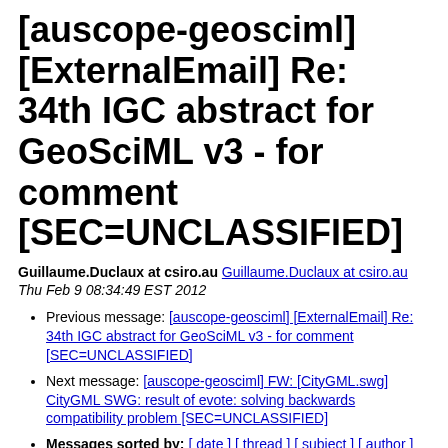[auscope-geosciml] [ExternalEmail] Re: 34th IGC abstract for GeoSciML v3 - for comment [SEC=UNCLASSIFIED]
Guillaume.Duclaux at csiro.au Guillaume.Duclaux at csiro.au Thu Feb 9 08:34:49 EST 2012
Previous message: [auscope-geosciml] [ExternalEmail] Re: 34th IGC abstract for GeoSciML v3 - for comment [SEC=UNCLASSIFIED]
Next message: [auscope-geosciml] FW: [CityGML.swg] CityGML SWG: result of evote: solving backwards compatibility problem [SEC=UNCLASSIFIED]
Messages sorted by: [ date ] [ thread ] [ subject ] [ author ]
We could certainly work something out to make this happen.